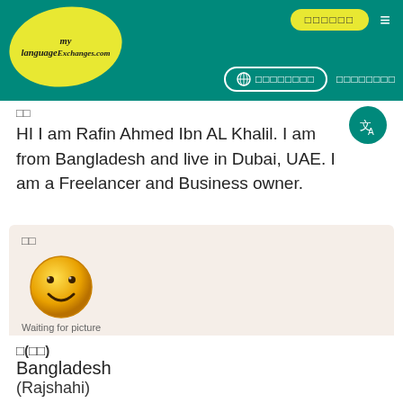MyLanguageExchange.com — navigation header with logo, register button, hamburger menu, language selector, sign-in link
□□
HI I am Rafin Ahmed Ibn AL Khalil. I am from Bangladesh and live in Dubai, UAE. I am a Freelancer and Business owner.
□□
Waiting for picture
Md Sobur
Add to Favorites
August 13, 2022
□(□□)
Bangladesh
(Rajshahi)